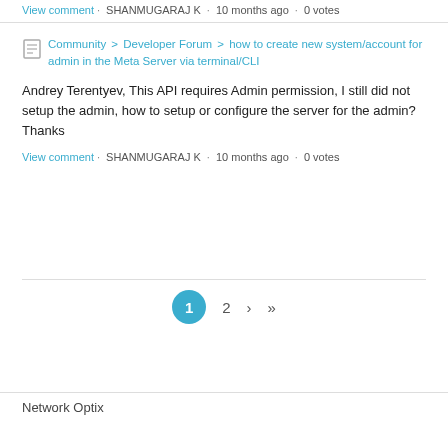View comment · SHANMUGARAJ K · 10 months ago · 0 votes
Community > Developer Forum > how to create new system/account for admin in the Meta Server via terminal/CLI
Andrey Terentyev, This API requires Admin permission, I still did not setup the admin, how to setup or configure the server for the admin? Thanks
View comment · SHANMUGARAJ K · 10 months ago · 0 votes
1 2 › »
Network Optix